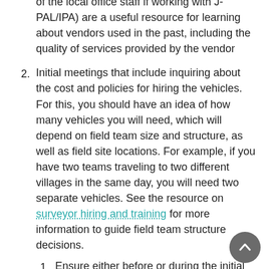of the local office staff if working with J-PAL/IPA) are a useful resource for learning about vendors used in the past, including the quality of services provided by the vendor
2. Initial meetings that include inquiring about the cost and policies for hiring the vehicles. For this, you should have an idea of how many vehicles you will need, which will depend on field team size and structure, as well as field site locations. For example, if you have two teams traveling to two different villages in the same day, you will need two separate vehicles. See the resource on surveyor hiring and training for more information to guide field team structure decisions.
1. Ensure either before or during the initial meetings that the vendor meets all of the